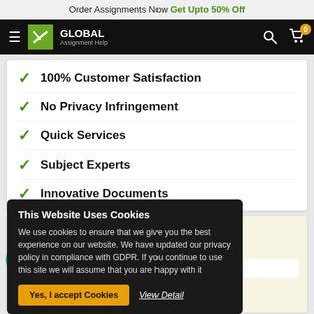Order Assignments Now Get Upto 50% Off
[Figure (logo): Global Assignment Help logo with navigation bar]
100% Customer Satisfaction
No Privacy Infringement
Quick Services
Subject Experts
Innovative Documents
FREE Tools
To Check Work Original
This Website Uses Cookies
We use cookies to ensure that we give you the best experience on our website. We have updated our privacy policy in compliance with GDPR. If you continue to use this site we will assume that you are happy with it
paraphrasing & get a
Yes, I accept Cookies   View Detail